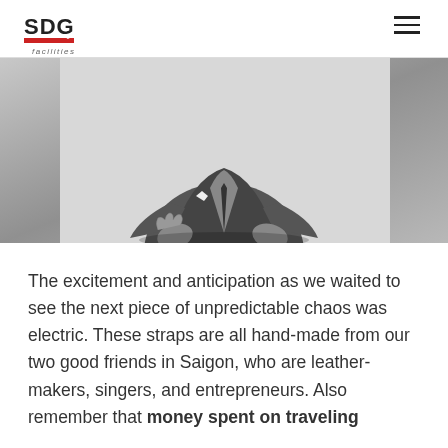SDG facilities
[Figure (photo): Black and white photo of a man in a business suit, sitting and gesturing with hands, cropped so head is partially out of frame]
The excitement and anticipation as we waited to see the next piece of unpredictable chaos was electric. These straps are all hand-made from our two good friends in Saigon, who are leather-makers, singers, and entrepreneurs. Also remember that money spent on traveling